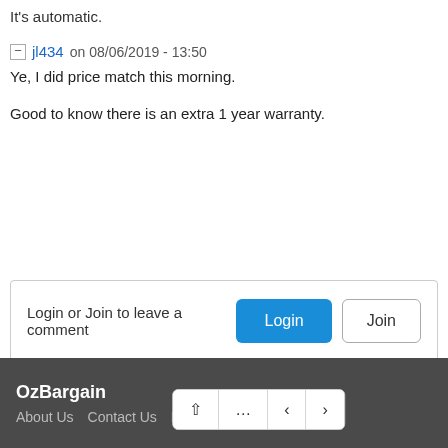It's automatic.
jl434 on 08/06/2019 - 13:50
Ye, I did price match this morning.

Good to know there is an extra 1 year warranty.
Login or Join to leave a comment
OzBargain
About Us   Contact Us   Full Site